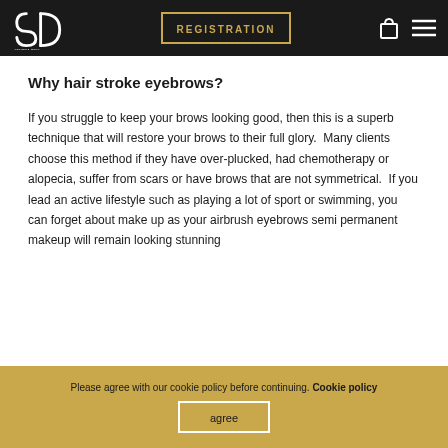SANDRA OPUL PERMANENT MAKEUP | REGISTRATION
Why hair stroke eyebrows?
If you struggle to keep your brows looking good, then this is a superb technique that will restore your brows to their full glory.  Many clients choose this method if they have over-plucked, had chemotherapy or alopecia, suffer from scars or have brows that are not symmetrical.  If you lead an active lifestyle such as playing a lot of sport or swimming, you can forget about make up as your airbrush eyebrows semi permanent makeup will remain looking stunning
Please agree with our cookie policy before continuing. Cookie policy
agree